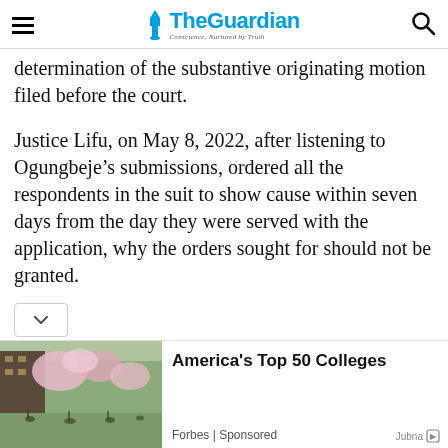The Guardian — Conscience, Nurtured by Truth
determination of the substantive originating motion filed before the court.
Justice Lifu, on May 8, 2022, after listening to Ogungbeje’s submissions, ordered all the respondents in the suit to show cause within seven days from the day they were served with the application, why the orders sought for should not be granted.
[Figure (photo): Advertisement photo showing people on a university campus with cherry blossom trees in bloom]
America's Top 50 Colleges — Forbes | Sponsored